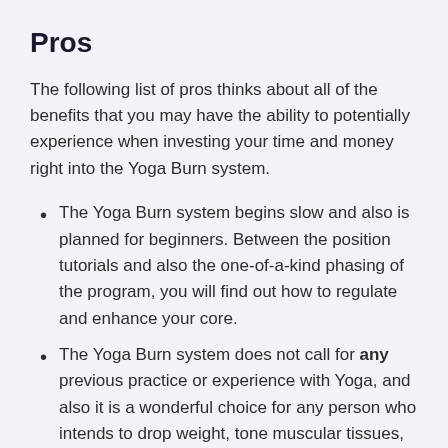Pros
The following list of pros thinks about all of the benefits that you may have the ability to potentially experience when investing your time and money right into the Yoga Burn system.
The Yoga Burn system begins slow and also is planned for beginners. Between the position tutorials and also the one-of-a-kind phasing of the program, you will find out how to regulate and enhance your core.
The Yoga Burn system does not call for any previous practice or experience with Yoga, and also it is a wonderful choice for any person who intends to drop weight, tone muscular tissues, as well as boost adaptability.